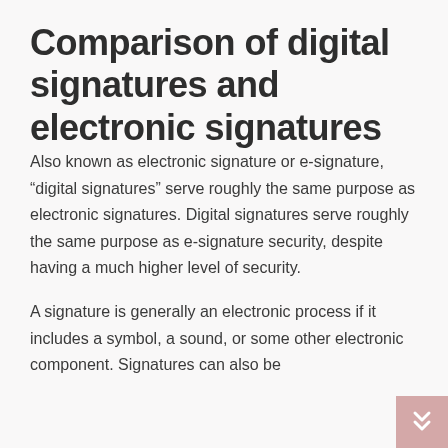Comparison of digital signatures and electronic signatures
Also known as electronic signature or e-signature, “digital signatures” serve roughly the same purpose as electronic signatures. Digital signatures serve roughly the same purpose as e-signature security, despite having a much higher level of security.
A signature is generally an electronic process if it includes a symbol, a sound, or some other electronic component. Signatures can also be